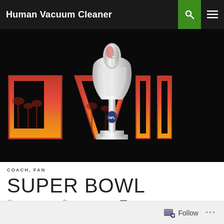Human Vacuum Cleaner
[Figure (illustration): Super Bowl LVI logo with Lombardi Trophy on black background featuring large red LVI letters with palm trees and sunset gradient]
COACH, FAN
SUPER BOWL
JANUARY 1, 2022  BROOKSSHUMATE  LEAVE A COMMENT
Follow ...